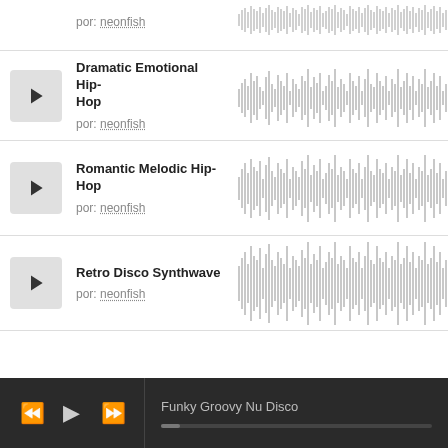[Figure (other): Partial track row at top: author 'neonfish' with waveform on right]
Dramatic Emotional Hip-Hop
por: neonfish
Romantic Melodic Hip-Hop
por: neonfish
Retro Disco Synthwave
por: neonfish
Funky Groovy Nu Disco